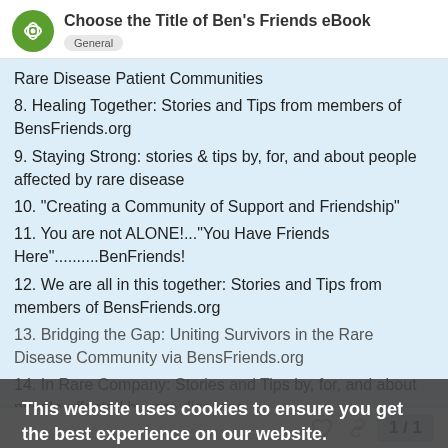Choose the Title of Ben's Friends eBook — General
Rare Disease Patient Communities
8. Healing Together: Stories and Tips from members of BensFriends.org
9. Staying Strong: stories & tips by, for, and about people affected by rare disease
10. "Creating a Community of Support and Friendship"
11. You are not ALONE!..."You Have Friends Here"..........BenFriends!
12. We are all in this together: Stories and Tips from members of BensFriends.org
13. Bridging the Gap: Uniting Survivors in the Rare Disease Community via BensFriends.org
14. In Rare Company: Stories and Tips by, for, and about people affected by rare diseases
This website uses cookies to ensure you get the best experience on our website. Learn more
Got it!
1 / 1